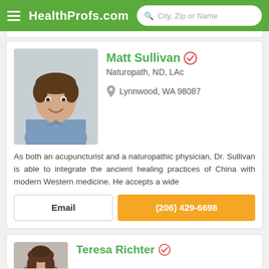HealthProfs.com — City, Zip or Name
Matt Sullivan
Naturopath, ND, LAc
Lynnwood, WA 98087
[Figure (photo): Professional headshot of Matt Sullivan, a man in a blue shirt smiling against a grey background]
As both an acupuncturist and a naturopathic physician, Dr. Sullivan is able to integrate the ancient healing practices of China with modern Western medicine. He accepts a wide
Email
(206) 429-6698
Teresa Richter
[Figure (photo): Partial headshot of Teresa Richter]